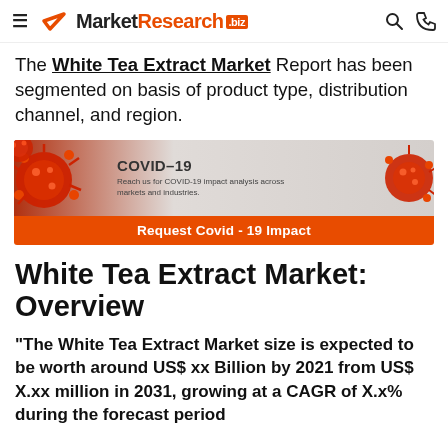MarketResearch.biz
The White Tea Extract Market Report has been segmented on basis of product type, distribution channel, and region.
[Figure (infographic): COVID-19 banner with virus illustrations. Text reads: COVID-19 Reach us for COVID-19 impact analysis across markets and industries. Button: Request Covid - 19 Impact]
White Tea Extract Market: Overview
“The White Tea Extract Market size is expected to be worth around US$ xx Billion by 2021 from US$ X.xx million in 2031, growing at a CAGR of X.x% during the forecast period